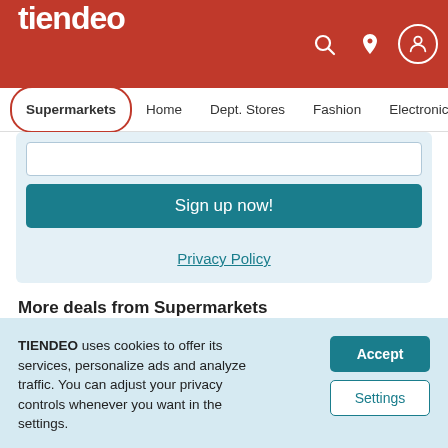tiendeo
Supermarkets | Home | Dept. Stores | Fashion | Electronics
Sign up now!
Privacy Policy
More deals from Supermarkets
Magners in other cities
TIENDEO uses cookies to offer its services, personalize ads and analyze traffic. You can adjust your privacy controls whenever you want in the settings.